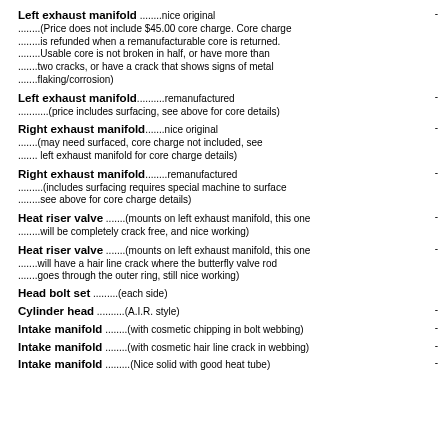Left exhaust manifold ........nice original
........(Price does not include $45.00 core charge. Core charge
........is refunded when a remanufacturable core is returned.
........Usable core is not broken in half, or have more than
.......two cracks, or have a crack that shows signs of metal
.......flaking/corrosion)
Left exhaust manifold..........remanufactured
...........(price includes surfacing, see above for core details)
Right exhaust manifold.......nice original
.......(may need surfaced, core charge not included, see
....... left exhaust manifold for core charge details)
Right exhaust manifold........remanufactured
.........(includes surfacing requires special machine to surface
........see above for core charge details)
Heat riser valve .......(mounts on left exhaust manifold, this one
........will be completely crack free, and nice working)
Heat riser valve .......(mounts on left exhaust manifold, this one
.......will have a hair line crack where the butterfly valve rod
.......goes through the outer ring, still nice working)
Head bolt set .........(each side)
Cylinder head ..........(A.I.R. style)
Intake manifold ........(with cosmetic chipping in bolt webbing)
Intake manifold ........(with cosmetic hair line crack in webbing)
Intake manifold .........(Nice solid with good heat tube)